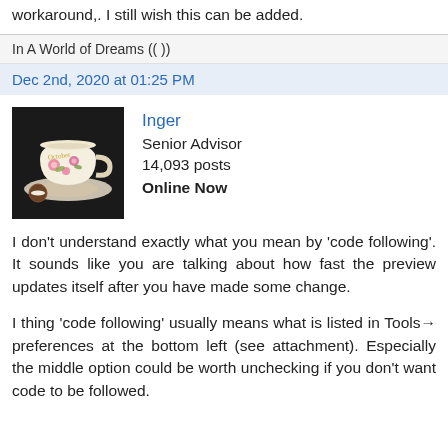workaround,. I still wish this can be added.
In A World of Dreams (( ))
Dec 2nd, 2020 at 01:25 PM
[Figure (photo): Avatar of user Inger showing a decorative teacup with flowers on a saucer, next to a cookie, on a dark background.]
Inger
Senior Advisor
14,093 posts
Online Now
I don't understand exactly what you mean by 'code following'. It sounds like you are talking about how fast the preview updates itself after you have made some change.
I thing 'code following' usually means what is listed in Tools→ preferences at the bottom left (see attachment). Especially the middle option could be worth unchecking if you don't want code to be followed.